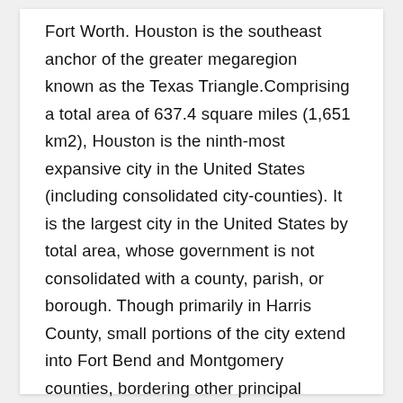Fort Worth. Houston is the southeast anchor of the greater megaregion known as the Texas Triangle.Comprising a total area of 637.4 square miles (1,651 km2), Houston is the ninth-most expansive city in the United States (including consolidated city-counties). It is the largest city in the United States by total area, whose government is not consolidated with a county, parish, or borough. Though primarily in Harris County, small portions of the city extend into Fort Bend and Montgomery counties, bordering other principal communities of Greater Houston such as Sugar Land and The Woodlands.